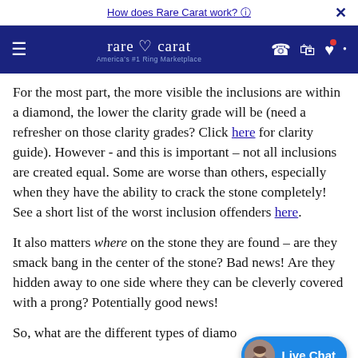How does Rare Carat work? 🛈
[Figure (logo): Rare Carat navigation bar with hamburger menu, logo 'rare ♡ carat - America's #1 Ring Marketplace', phone, bag, and heart icons on dark blue background]
For the most part, the more visible the inclusions are within a diamond, the lower the clarity grade will be (need a refresher on those clarity grades? Click here for clarity guide). However - and this is important – not all inclusions are created equal. Some are worse than others, especially when they have the ability to crack the stone completely! See a short list of the worst inclusion offenders here.
It also matters where on the stone they are found – are they smack bang in the center of the stone? Bad news! Are they hidden away to one side where they can be cleverly covered with a prong? Potentially good news!
So, what are the different types of diamond inclusion that